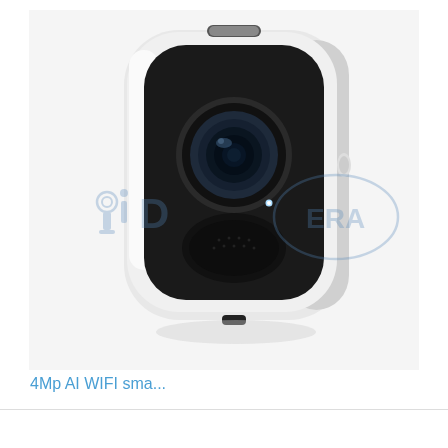[Figure (photo): White wireless security camera with black front panel, camera lens, and speaker grille. The camera has a rounded rectangular body, white housing, and a small LED indicator. An 'iDCamera' watermark logo is overlaid on the center of the image.]
4Mp AI WIFI sma...